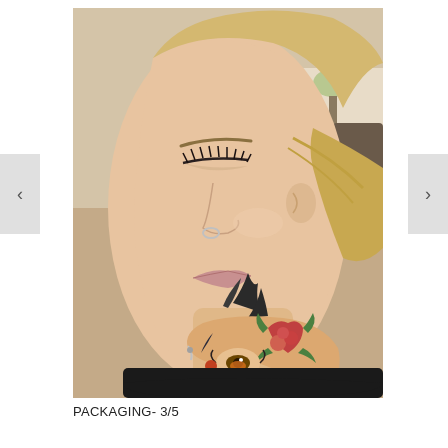[Figure (photo): Close-up side profile photo of a blonde woman with eyes closed, wearing makeup with defined lashes, a nose ring, and tattoos visible on her neck and hands. She is wearing a black hoodie. A bedroom with a bed and lamp is visible in the background.]
PACKAGING- 3/5